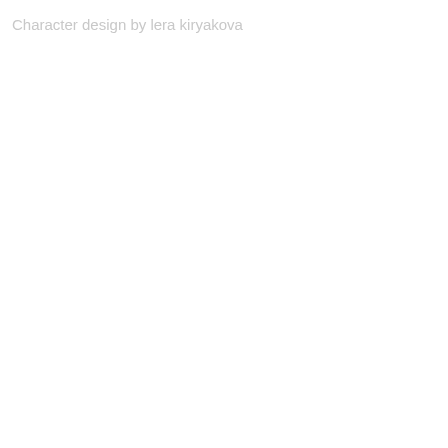Character design by lera kiryakova